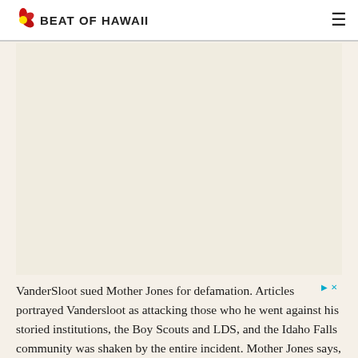BEAT OF HAWAii
[Figure (other): Advertisement placeholder area]
VanderSloot sued Mother Jones for defamation. Articles portrayed Vandersloot as attacking those who he went against his storied institutions, the Boy Scouts and LDS, and the Idaho Falls community was shaken by the entire incident. Mother Jones says, " A judge in Idaho has ruled in our favor on all claims in a defamation case filed by a major Republican donor, Frank VanderSloot, and his company, Melaleuca Inc... The court found that Mother Jones did not defame VanderSloot or Melaleuca...